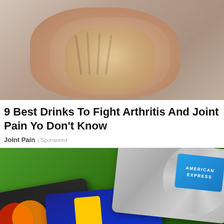[Figure (photo): Close-up photo of an elderly person's hands clasped together, with a light blue shirt visible in the background.]
9 Best Drinks To Fight Arthritis And Joint Pain Yo Don't Know
Joint Pain | Sponsored
[Figure (photo): Photo of multiple credit cards fanned out on a green background, showing MasterCard, VISA, and American Express cards.]